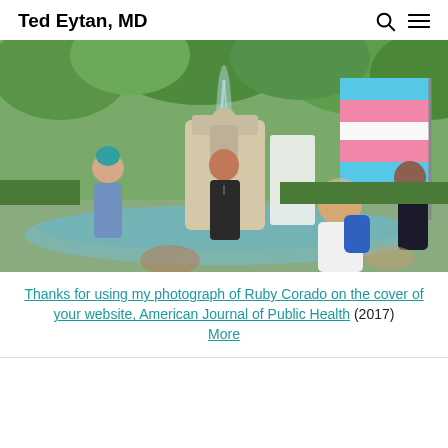Ted Eytan, MD
[Figure (photo): Outdoor scene at a fountain with a stone statue. A woman speaks into a microphone at center, a person with teal hair stands at left, and a person holds a transgender pride flag (blue, pink, and white stripes) at right. A person with a blue backpack is seen from behind in the foreground. Green trees are visible in the background.]
Thanks for using my photograph of Ruby Corado on the cover of your website, American Journal of Public Health (2017)
More